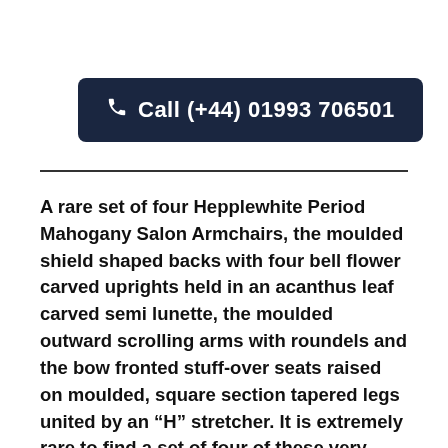Call (+44) 01993 706501
A rare set of four Hepplewhite Period Mahogany Salon Armchairs, the moulded shield shaped backs with four bell flower carved uprights held in an acanthus leaf carved semi lunette, the moulded outward scrolling arms with roundels and the bow fronted stuff-over seats raised on moulded, square section tapered legs united by an “H” stretcher. It is extremely rare to find a set of four of these very fashionable and high quality George III Armchairs with the crisp carving to the backs and the moulded sections. The seats have been newly traditionally upholstered in...